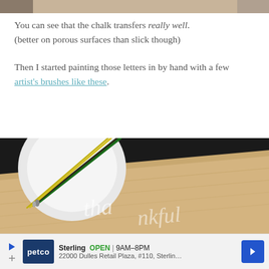[Figure (photo): Top partial image of a craft project, cropped at the top of the page showing a wooden surface]
You can see that the chalk transfers really well. (better on porous surfaces than slick though)
Then I started painting those letters in by hand with a few artist's brushes like these.
[Figure (photo): Photo of artist's paintbrushes on a white plate next to a wooden board with chalk lettering spelling 'thankful']
[Figure (other): Advertisement banner for Petco in Sterling, showing store hours 9AM-8PM and address 22000 Dulles Retail Plaza, #110, Sterling]